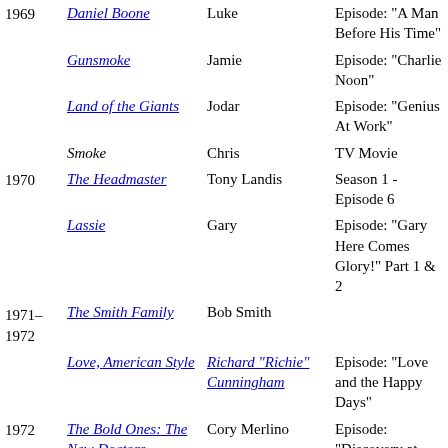| Year | Show | Role | Notes |
| --- | --- | --- | --- |
| 1969 | Daniel Boone | Luke | Episode: "A Man Before His Time" |
|  | Gunsmoke | Jamie | Episode: "Charlie Noon" |
|  | Land of the Giants | Jodar | Episode: "Genius At Work" |
|  | Smoke | Chris | TV Movie |
| 1970 | The Headmaster | Tony Landis | Season 1 - Episode 6 |
|  | Lassie | Gary | Episode: "Gary Here Comes Glory!" Part 1 & 2 |
| 1971–1972 | The Smith Family | Bob Smith |  |
|  | Love, American Style | Richard "Richie" Cunningham | Episode: "Love and the Happy Days" |
| 1972 | The Bold Ones: The New Doctors | Cory Merlino | Episode: "Discovery at Fourteen" |
|  | Bonanza | Ted Hoag | Episode: "The Initiation" |
| 1973 | M*A*S*H | Private Walter Wendell Pot… | Episode: "Sometimes You |